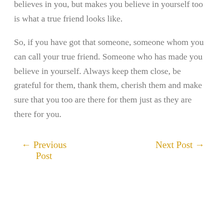believes in you, but makes you believe in yourself too is what a true friend looks like.
So, if you have got that someone, someone whom you can call your true friend. Someone who has made you believe in yourself. Always keep them close, be grateful for them, thank them, cherish them and make sure that you too are there for them just as they are there for you.
← Previous Post    Next Post →